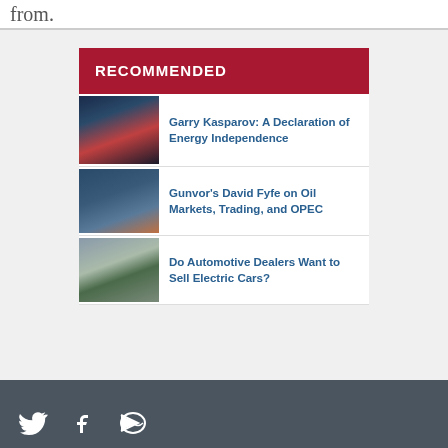from.
RECOMMENDED
Garry Kasparov: A Declaration of Energy Independence
Gunvor's David Fyfe on Oil Markets, Trading, and OPEC
Do Automotive Dealers Want to Sell Electric Cars?
Social media icons: Twitter, Facebook, RSS